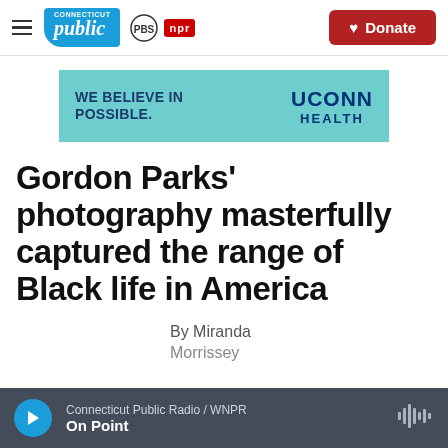Connecticut Public PBS NPR — Donate
[Figure (illustration): UConn Health advertisement banner: teal background with text 'WE BELIEVE IN POSSIBLE.' on left and 'UCONN HEALTH' on right]
Gordon Parks' photography masterfully captured the range of Black life in America
By Miranda Morrissey
Connecticut Public Radio / WNPR — On Point